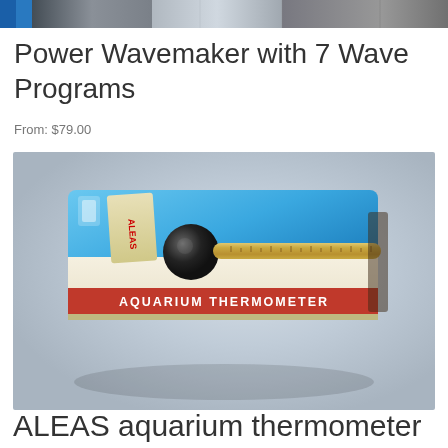[Figure (photo): Top strip showing partial product images on a website]
Power Wavemaker with 7 Wave Programs
From: $79.00
[Figure (photo): ALEAS Aquarium Thermometer product in retail packaging with blue card and red label showing thermometer tube with suction cup mount]
ALEAS aquarium thermometer